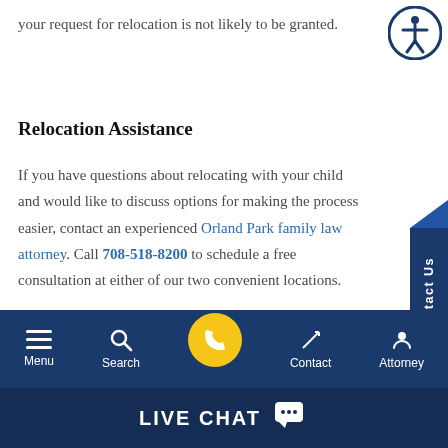your request for relocation is not likely to be granted.
Relocation Assistance
If you have questions about relocating with your child and would like to discuss options for making the process easier, contact an experienced Orland Park family law attorney. Call 708-518-8200 to schedule a free consultation at either of our two convenient locations.
Menu  Search  [Phone]  Contact  Attorney  |  LIVE CHAT